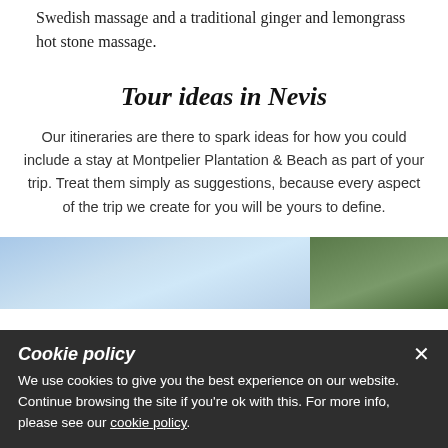Swedish massage and a traditional ginger and lemongrass hot stone massage.
Tour ideas in Nevis
Our itineraries are there to spark ideas for how you could include a stay at Montpelier Plantation & Beach as part of your trip. Treat them simply as suggestions, because every aspect of the trip we create for you will be yours to define.
[Figure (photo): Two photos side by side: left shows a blue sky with clouds, right shows green landscape/vegetation.]
Cookie policy
We use cookies to give you the best experience on our website. Continue browsing the site if you're ok with this. For more info, please see our cookie policy.